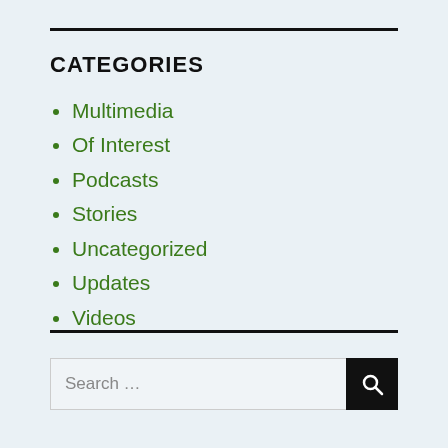CATEGORIES
Multimedia
Of Interest
Podcasts
Stories
Uncategorized
Updates
Videos
Search …